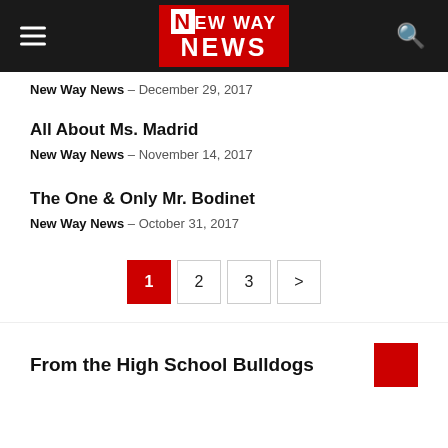New Way News
New Way News – December 29, 2017
All About Ms. Madrid
New Way News – November 14, 2017
The One & Only Mr. Bodinet
New Way News – October 31, 2017
1 2 3 >
From the High School Bulldogs